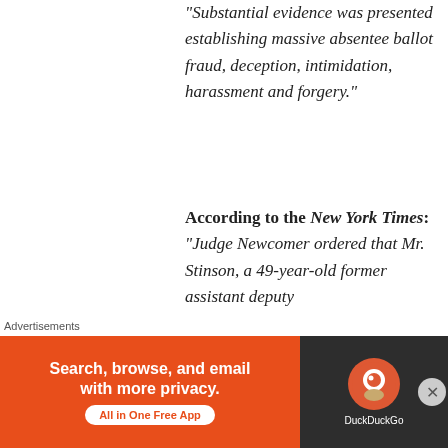"Substantial evidence was presented establishing massive absentee ballot fraud, deception, intimidation, harassment and forgery."
According to the New York Times: "Judge Newcomer ordered that Mr. Stinson, a 49-year-old former assistant deputy of Philadelphia...
Advertisements
[Figure (other): DuckDuckGo advertisement banner: orange left panel reading 'Search, browse, and email with more privacy. All in One Free App' and dark right panel with DuckDuckGo logo.]